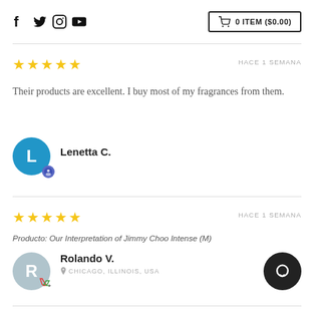Social icons: Facebook, Twitter, Instagram, YouTube | Cart: 0 ITEM ($0.00)
★★★★★  HACE 1 SEMANA
Their products are excellent. I buy most of my fragrances from them.
Lenetta C.
★★★★★  HACE 1 SEMANA
Producto: Our Interpretation of Jimmy Choo Intense (M)
Rolando V.
CHICAGO, ILLINOIS, USA